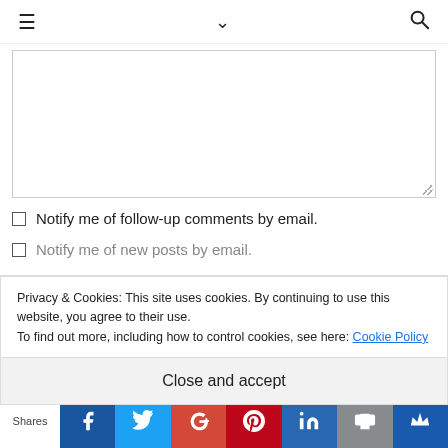≡  ∨  🔍
[Figure (screenshot): Text input textarea with resize handle]
Notify me of follow-up comments by email.
Notify me of new posts by email.
Privacy & Cookies: This site uses cookies. By continuing to use this website, you agree to their use. To find out more, including how to control cookies, see here: Cookie Policy
Close and accept
Shares  [Facebook] [Twitter] [Google+] [Pinterest] [LinkedIn] [Print] [Su]